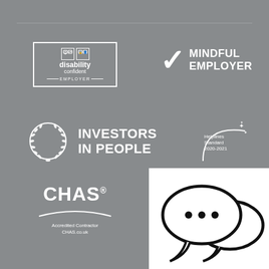[Figure (logo): Disability Confident Employer logo — white bordered box with person and graph icons, text 'disability confident EMPLOYER']
[Figure (logo): Mindful Employer logo — large white checkmark with text 'MINDFUL EMPLOYER']
[Figure (logo): Investors in People logo — white laurel wreath circle with text 'INVESTORS IN PEOPLE']
[Figure (logo): Helplines Standard 2020-2021 logo — white arc with sparkle stars and text 'Helplines Standard 2020-2021']
[Figure (logo): CHAS Accredited Contractor logo — white text 'CHAS' with registered mark, arc underline, 'Accredited Contractor CHAS.co.uk']
[Figure (illustration): Two overlapping speech/chat bubbles with ellipsis dots inside, black outline on white background]